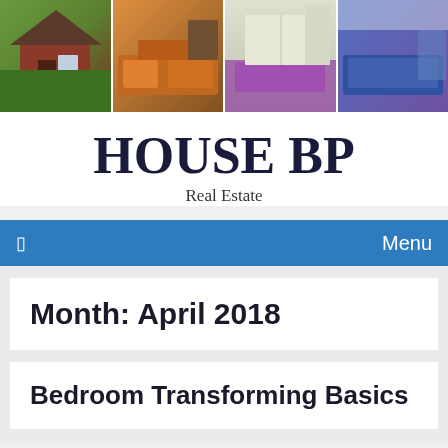[Figure (photo): Header collage of four real estate property photos: exterior of brick house with garden, living room with orange sofa, kitchen/dining area with purple chairs, bedroom with blue bedding]
HOUSE BP
Real Estate
☐   Menu
Month: April 2018
Bedroom Transforming Basics